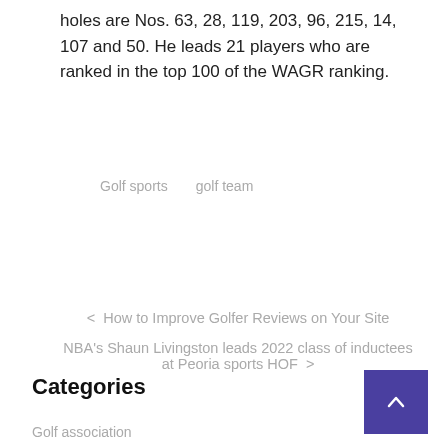holes are Nos. 63, 28, 119, 203, 96, 215, 14, 107 and 50. He leads 21 players who are ranked in the top 100 of the WAGR ranking.
Golf sports    golf team
< How to Improve Golfer Reviews on Your Site
NBA's Shaun Livingston leads 2022 class of inductees at Peoria sports HOF >
Categories
Golf association